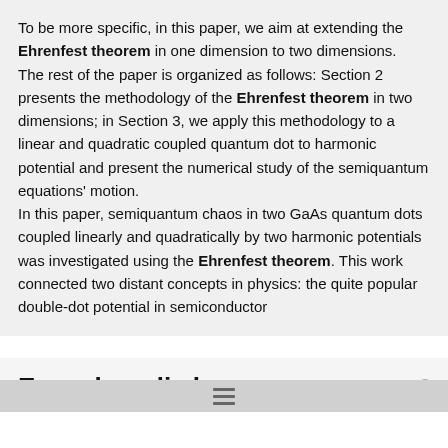To be more specific, in this paper, we aim at extending the Ehrenfest theorem in one dimension to two dimensions.
The rest of the paper is organized as follows: Section 2 presents the methodology of the Ehrenfest theorem in two dimensions; in Section 3, we apply this methodology to a linear and quadratic coupled quantum dot to harmonic potential and present the numerical study of the semiquantum equations' motion.
In this paper, semiquantum chaos in two GaAs quantum dots coupled linearly and quadratically by two harmonic potentials was investigated using the Ehrenfest theorem. This work connected two distant concepts in physics: the quite popular double-dot potential in semiconductor
Encyclopedia browser
Ehrenburg
Ehrenburg, Ilya
Ehrenburg, Ilya Grigorevich
Ehrenburg, Ilya Grigoryevich
Ehrenfest Relations